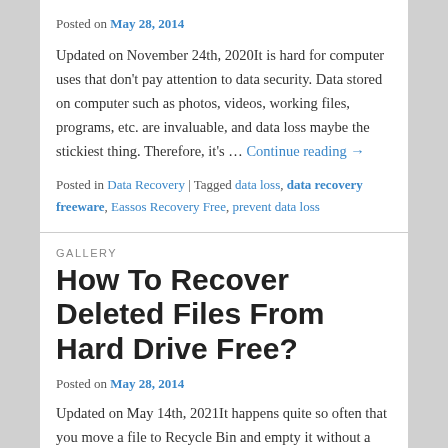Posted on May 28, 2014
Updated on November 24th, 2020It is hard for computer uses that don't pay attention to data security. Data stored on computer such as photos, videos, working files, programs, etc. are invaluable, and data loss maybe the stickiest thing. Therefore, it's … Continue reading →
Posted in Data Recovery | Tagged data loss, data recovery freeware, Eassos Recovery Free, prevent data loss
GALLERY
How To Recover Deleted Files From Hard Drive Free?
Posted on May 28, 2014
Updated on May 14th, 2021It happens quite so often that you move a file to Recycle Bin and empty it without a